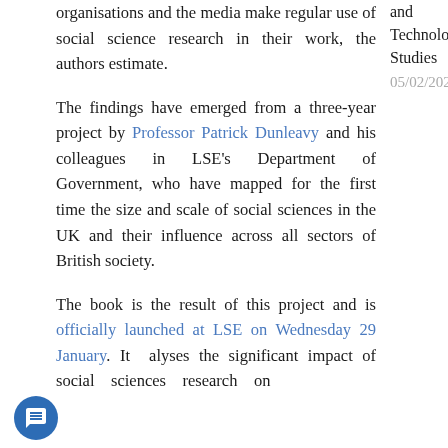organisations and the media make regular use of social science research in their work, the authors estimate.
The findings have emerged from a three-year project by Professor Patrick Dunleavy and his colleagues in LSE's Department of Government, who have mapped for the first time the size and scale of social sciences in the UK and their influence across all sectors of British society.
The book is the result of this project and is officially launched at LSE on Wednesday 29 January. It analyses the significant impact of social sciences research on
and Technology Studies
05/02/2022